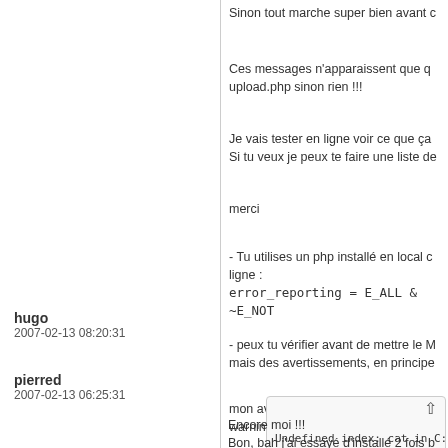Sinon tout marche super bien avant c
Ces messages n'apparaissent que q upload.php sinon rien !!!
Je vais tester en ligne voir ce que ça Si tu veux je peux te faire une liste de
merci
hugo
2007-02-13 08:20:31
- Tu utilises un php installé en local c ligne : error_reporting  =  E_ALL & ~E_NOT
- peux tu vérifier avant de mettre le M mais des avertissements, en principe
mon avis c'est que ce n'est pas lié au warnings dans PWG. Si tu confirmes
pierred
2007-02-13 06:25:31
Encore moi !!! Bon, bah j'ai essayé d'installé 2 fois b
Undefined index: cat in C:\...\p